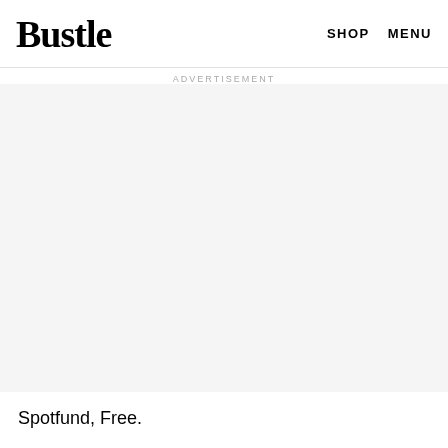Bustle  SHOP  MENU
ADVERTISEMENT
[Figure (other): Advertisement placeholder area with light gray background]
Spotfund, Free.